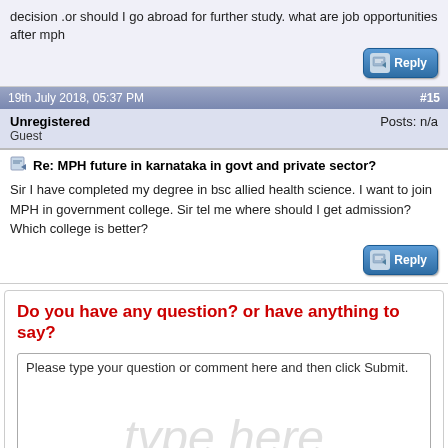decision .or should I go abroad for further study. what are job opportunities after mph
19th July 2018, 05:37 PM
#15
Unregistered
Guest
Posts: n/a
Re: MPH future in karnataka in govt and private sector?
Sir I have completed my degree in bsc allied health science. I want to join MPH in government college. Sir tel me where should I get admission? Which college is better?
Do you have any question? or have anything to say?
Please type your question or comment here and then click Submit.